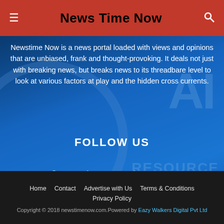News Time Now
Newstime Now is a news portal loaded with views and opinions that are unbiased, frank and thought-provoking. It deals not just with breaking news, but breaks news to its threadbare level to look at various factors at play and the hidden cross currents.
FOLLOW US
[Figure (infographic): Social media icons: Facebook (f), LinkedIn (in), Twitter (bird), YouTube (play button)]
Home   Contact   Advertise with Us   Terms & Conditions   Privacy Policy
Copyright © 2018 newstimenow.com.Powered by Eazy Walkers Digital Pvt Ltd